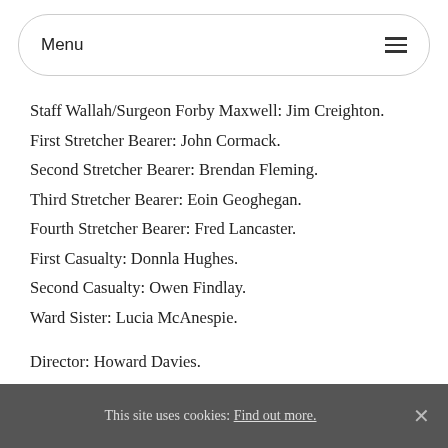Menu
Staff Wallah/Surgeon Forby Maxwell: Jim Creighton.
First Stretcher Bearer: John Cormack.
Second Stretcher Bearer: Brendan Fleming.
Third Stretcher Bearer: Eoin Geoghegan.
Fourth Stretcher Bearer: Fred Lancaster.
First Casualty: Donnla Hughes.
Second Casualty: Owen Findlay.
Ward Sister: Lucia McAnespie.
Director: Howard Davies.
Designer: Vicki Mortimer.
Lighting: Neil Austin.
This site uses cookies: Find out more.